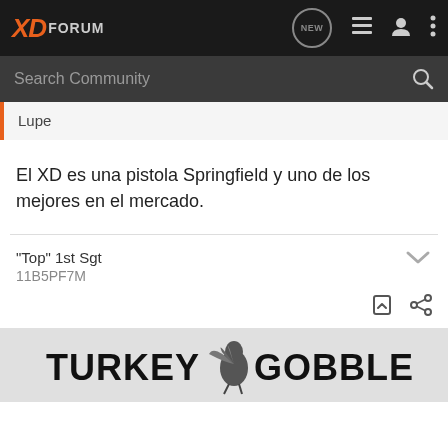XD Forum
Search Community
Lupe
El XD es una pistola Springfield y uno de los mejores en el mercado.
"Top" 1st Sgt
11B5PF7M
[Figure (screenshot): TURKEY GOBBLERS banner advertisement with a turkey image]
TURKEY GOBBLERS